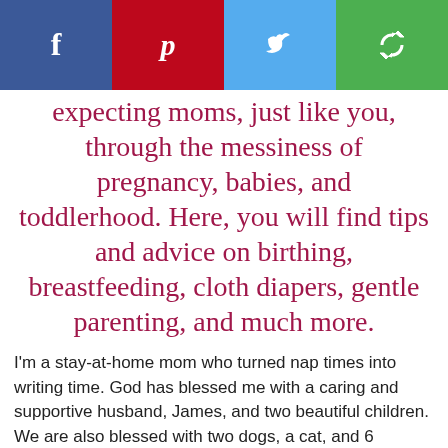[Figure (other): Social media share buttons bar with Facebook (blue), Pinterest (red), Twitter (light blue), and a share/recycle icon (green)]
expecting moms, just like you, through the messiness of pregnancy, babies, and toddlerhood. Here, you will find tips and advice on birthing, breastfeeding, cloth diapers, gentle parenting, and much more.
I'm a stay-at-home mom who turned nap times into writing time. God has blessed me with a caring and supportive husband, James, and two beautiful children. We are also blessed with two dogs, a cat, and 6 chickens. We've certainly got our hands full!